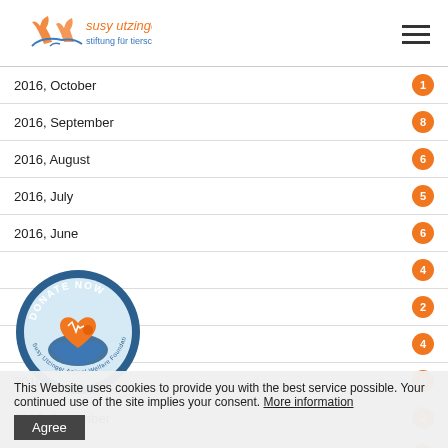[Figure (logo): Susy Utzinger Stiftung für Tierschutz logo with stylized animal figures in orange and blue]
2016, October — 1
2016, September — 8
2016, August — 6
2016, July — 5
2016, June — 6
2016, May — 4
2016, April — 2
2016, March — 4
2016, February — 5
2015, December — 2
2015, November — 2
2015, September (faded)
2015, July (faded)
2015, June (faded)
[Figure (illustration): Donate Now circular badge with heart and hands logo]
This Website uses cookies to provide you with the best service possible. Your continued use of the site implies your consent. More information
Agree